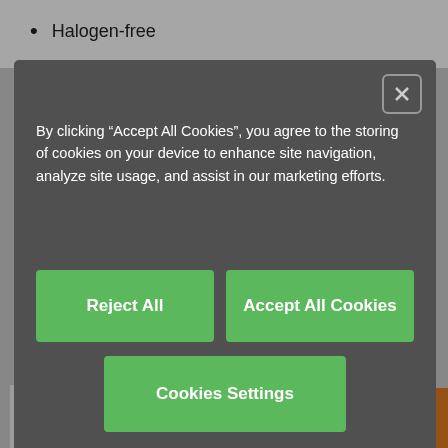Halogen-free
[Figure (screenshot): Row of certification logos: CE, clean room, DEGINA, DNV, EAL, no-flame, hal, offshore, oil, RoHS, crossed-out, UK CA, cULus, UV]
AUD 129.63/Pc.
Cost-effective price break available online
AUD 129.63/Pc. 1 Pc.
[Figure (screenshot): Cookie consent modal overlay with dark background. Contains text: By clicking "Accept All Cookies", you agree to the storing of cookies on your device to enhance site navigation, analyze site usage, and assist in our marketing efforts. Three buttons: Reject All, Accept All Cookies, Cookies Settings.]
By clicking “Accept All Cookies”, you agree to the storing of cookies on your device to enhance site navigation, analyze site usage, and assist in our marketing efforts.